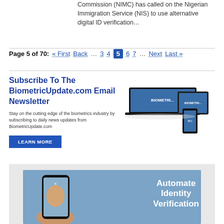Commission (NIMC) has called on the Nigerian Immigration Service (NIS) to use alternative digital ID verification…
Page 5 of 70: « First Back … 3 4 5 6 7 … Next Last »
[Figure (infographic): Subscribe To The BiometricUpdate.com Email Newsletter advertisement with devices image and Learn More button]
[Figure (infographic): Automate Identity Verification promotional banner showing a hand holding a phone with a face on screen]